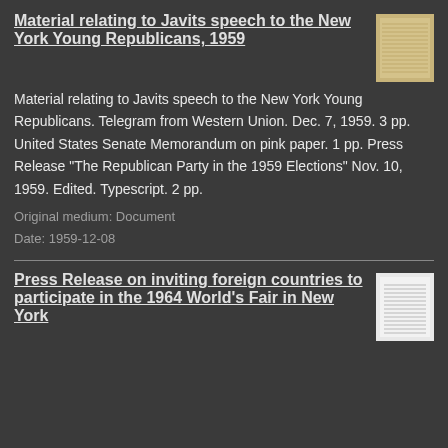Material relating to Javits speech to the New York Young Republicans, 1959
Material relating to Javits speech to the New York Young Republicans. Telegram from Western Union. Dec. 7, 1959. 3 pp. United States Senate Memorandum on pink paper. 1 pp. Press Release "The Republican Party in the 1959 Elections" Nov. 10, 1959. Edited. Typescript. 2 pp.
Original medium: Document
Date: 1959-12-08
[Figure (photo): Thumbnail image of a document page with aged/yellowed appearance]
Press Release on inviting foreign countries to participate in the 1964 World's Fair in New York
[Figure (photo): Thumbnail image of a typed press release document]